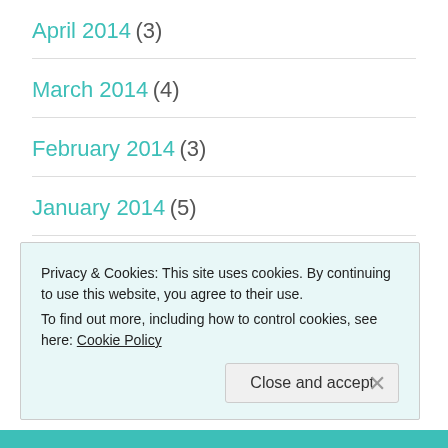April 2014 (3)
March 2014 (4)
February 2014 (3)
January 2014 (5)
December 2013 (9)
November 2013 (11)
Privacy & Cookies: This site uses cookies. By continuing to use this website, you agree to their use. To find out more, including how to control cookies, see here: Cookie Policy
Close and accept